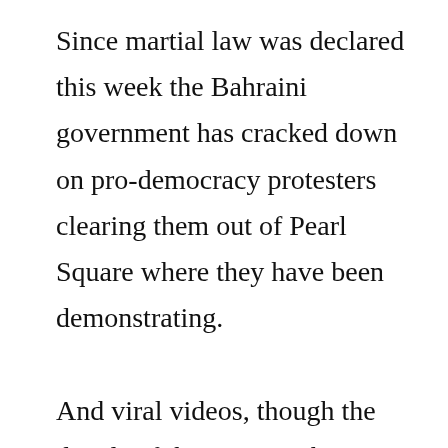Since martial law was declared this week the Bahraini government has cracked down on pro-democracy protesters clearing them out of Pearl Square where they have been demonstrating.

And viral videos, though the details of them cannot be confirmed, have been surfacing on the Internet appearing to show police shooting protesters, in some cases point blank. It is reminiscent of another uprising against an autocrat… in Libya.